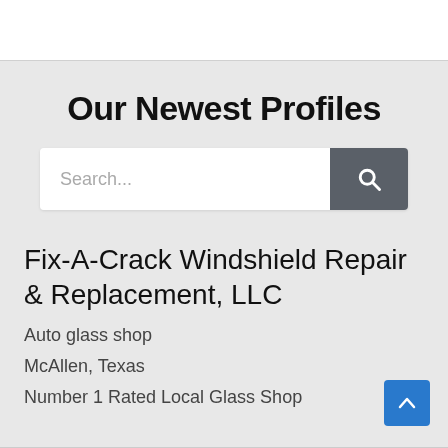Our Newest Profiles
[Figure (screenshot): Search input field with placeholder text 'Search...' and a dark grey search button with magnifying glass icon]
Fix-A-Crack Windshield Repair & Replacement, LLC
Auto glass shop
McAllen, Texas
Number 1 Rated Local Glass Shop